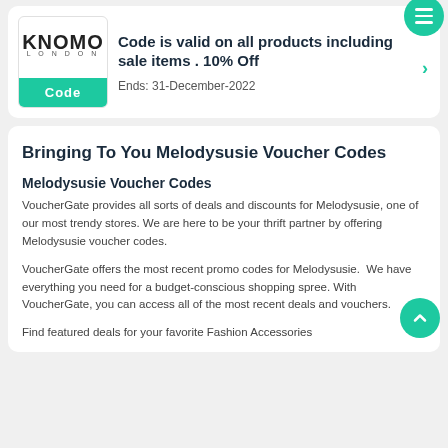[Figure (logo): KNOMO London logo with a teal 'Code' button at the bottom]
Code is valid on all products including sale items . 10% Off
Ends: 31-December-2022
Bringing To You Melodysusie Voucher Codes
Melodysusie Voucher Codes
VoucherGate provides all sorts of deals and discounts for Melodysusie, one of our most trendy stores. We are here to be your thrift partner by offering Melodysusie voucher codes.
VoucherGate offers the most recent promo codes for Melodysusie.  We have everything you need for a budget-conscious shopping spree. With VoucherGate, you can access all of the most recent deals and vouchers.
Find featured deals for your favorite Fashion Accessories